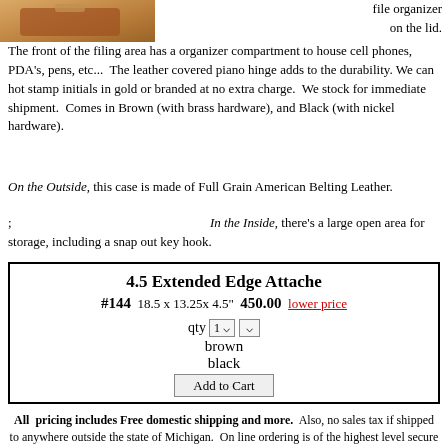[Figure (photo): Partial image of a brown leather attache case lid, cropped at top-left]
file organizer on the lid.
The front of the filing area has a organizer compartment to house cell phones, PDA's, pens, etc...  The leather covered piano hinge adds to the durability. We can hot stamp initials in gold or branded at no extra charge.  We stock for immediate shipment.  Comes in Brown (with brass hardware), and Black (with nickel hardware).
On the Outside, this case is made of Full Grain American Belting Leather.
; In the Inside, there's a large open area for storage, including a snap out key hook.
| 4.5 Extended Edge Attache | #144 18.5 x 13.25x 4.5"  450.00  lower price | qty 1 v  v | brown | black | Add to Cart |
All pricing includes Free domestic shipping and more.  Also, no sales tax if shipped to anywhere outside the state of Michigan.  On line ordering is of the highest level secure format.  We have been in business for over 55 years and offer 30 day Money Back Guarantee.  All pieces are backed by Manufacturer's Warranty.  We also can gold hot stamp your initials at no extra charge - just specify.